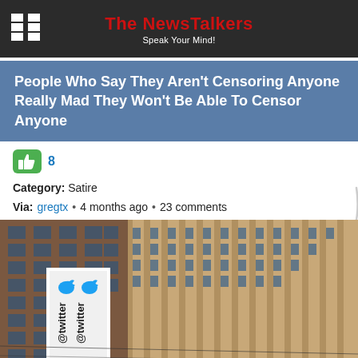The NewsTalkers — Speak Your Mind!
People Who Say They Aren't Censoring Anyone Really Mad They Won't Be Able To Censor Anyone
8
Category: Satire
Via: gregtx • 4 months ago • 23 comments
[Figure (photo): Exterior photo of Twitter headquarters building with @twitter and Twitter bird logo signage on a white pillar, against a multi-story brick building facade]